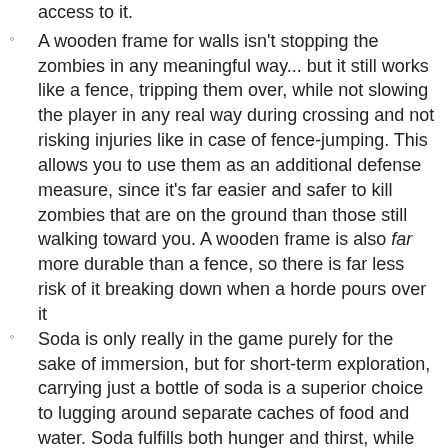access to it.
A wooden frame for walls isn't stopping the zombies in any meaningful way... but it still works like a fence, tripping them over, while not slowing the player in any real way during crossing and not risking injuries like in case of fence-jumping. This allows you to use them as an additional defense measure, since it's far easier and safer to kill zombies that are on the ground than those still walking toward you. A wooden frame is also far more durable than a fence, so there is far less risk of it breaking down when a horde pours over it
Soda is only really in the game purely for the sake of immersion, but for short-term exploration, carrying just a bottle of soda is a superior choice to lugging around separate caches of food and water. Soda fulfills both hunger and thirst, while also decreasing boredom, and like all drinks your character will drink from it automatically, allowing you to save inventory space